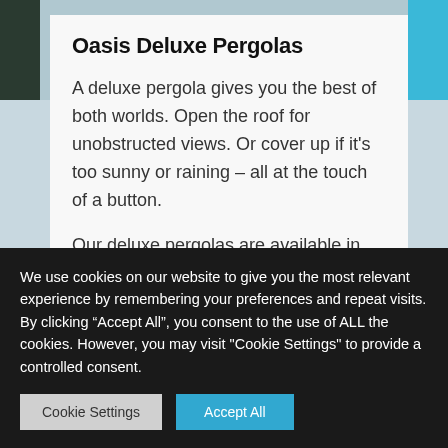[Figure (photo): Background image with dark green/nature on the left, light blue/cyan colors on the right, partially visible behind a white card]
Oasis Deluxe Pergolas
A deluxe pergola gives you the best of both worlds. Open the roof for unobstructed views. Or cover up if it’s too sunny or raining – all at the touch of a button.
Our deluxe pergolas are available in eleven sizes, ranging from our smallest
We use cookies on our website to give you the most relevant experience by remembering your preferences and repeat visits. By clicking “Accept All”, you consent to the use of ALL the cookies. However, you may visit "Cookie Settings" to provide a controlled consent.